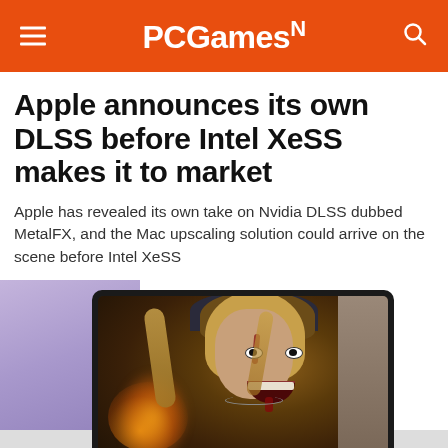PCGamesN
Apple announces its own DLSS before Intel XeSS makes it to market
Apple has revealed its own take on Nvidia DLSS dubbed MetalFX, and the Mac upscaling solution could arrive on the scene before Intel XeSS
[Figure (photo): MacBook laptop screen showing a zombie or horror game character — a woman with wild blonde hair, blood on her face, a wide grin, and dark hood, holding an object with fire/flame glow, against a dark atmospheric background]